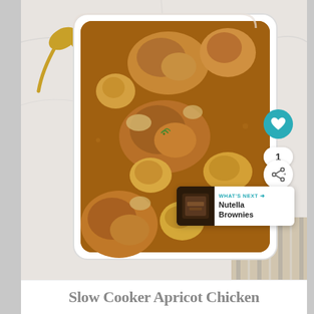[Figure (photo): Top-down view of slow cooker apricot chicken in a white rectangular baking dish with golden-brown sauce and pieces of chicken and apricots, on a marble surface with gold spoons beside it. Overlaid UI elements include a teal heart button, share button, count badge showing 1, and a 'What's Next: Nutella Brownies' recommendation badge.]
Slow Cooker Apricot Chicken